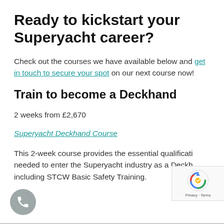Ready to kickstart your Superyacht career?
Check out the courses we have available below and get in touch to secure your spot on our next course now!
Train to become a Deckhand
2 weeks from £2,670
Superyacht Deckhand Course
This 2-week course provides the essential qualifications needed to enter the Superyacht industry as a Deckhand, including STCW Basic Safety Training.